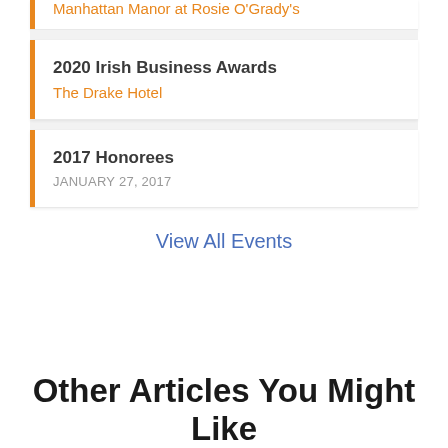Manhattan Manor at Rosie O'Grady's
2020 Irish Business Awards
The Drake Hotel
2017 Honorees
JANUARY 27, 2017
View All Events
Other Articles You Might Like